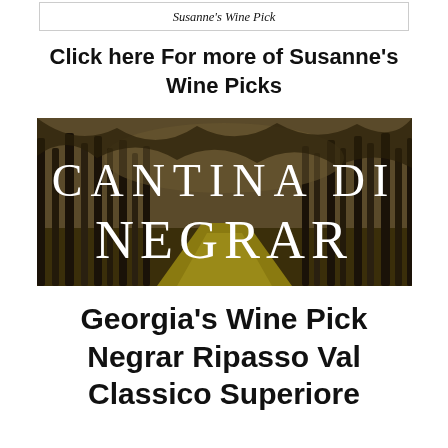Susanne's Wine Pick
Click here For more of Susanne's Wine Picks
[Figure (photo): Cantina Di Negrar winery logo overlaid on a photograph of a vineyard with bare winter trees lining a path, earthy tones of brown and yellow.]
Georgia's Wine Pick Negrar Ripasso Val Classico Superiore